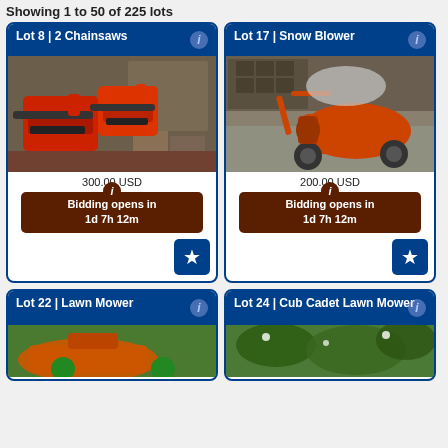Showing 1 to 50 of 225 lots
[Figure (screenshot): Lot 8 - 2 Chainsaws auction card showing two red chainsaws, price 300.00 USD, bidding opens in 1d 7h 12m]
[Figure (screenshot): Lot 17 - Snow Blower auction card showing an orange snow blower, price 200.00 USD, bidding opens in 1d 7h 12m]
[Figure (screenshot): Lot 22 - Lawn Mower auction card, partially visible]
[Figure (screenshot): Lot 24 - Cub Cadet Lawn Mower auction card, partially visible]